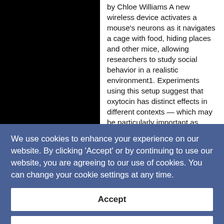[Figure (photo): Black image block on the left side of the page, partially visible photograph]
by Chloe Williams A new wireless device activates a mouse's neurons as it navigates a cage with food, hiding places and other mice, allowing researchers to study social behavior in a realistic environment1. Experiments using this setup suggest that oxytocin has distinct effects in different contexts — which may be particularly important as researchers explore the hormone's value as a potential treatment for autism. The device makes use of optogenetics, a technique in which researchers use colored light to activate or silence
We use cookies to enhance your experience on our website. By clicking 'Accept' or by continuing to use our website, you are agreeing to our use of cookies. You can change your cookie settings at any time.
Accept
Find out more